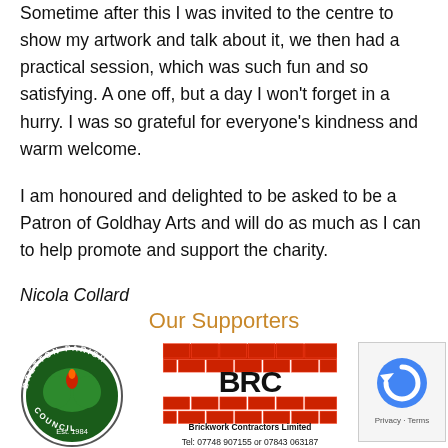Sometime after this I was invited to the centre to show my artwork and talk about it, we then had a practical session, which was such fun and so satisfying. A one off, but a day I won't forget in a hurry. I was so grateful for everyone's kindness and warm welcome.
I am honoured and delighted to be asked to be a Patron of Goldhay Arts and will do as much as I can to help promote and support the charity.
Nicola Collard
Our Supporters
[Figure (logo): Bretton Parish Council circular logo with a tree and flame motif, Est. 1984]
[Figure (logo): BRC Brickwork Contractors Limited logo with brick pattern background. Tel: 07748 907155 or 07843 063187]
[Figure (other): reCAPTCHA Privacy Terms badge]